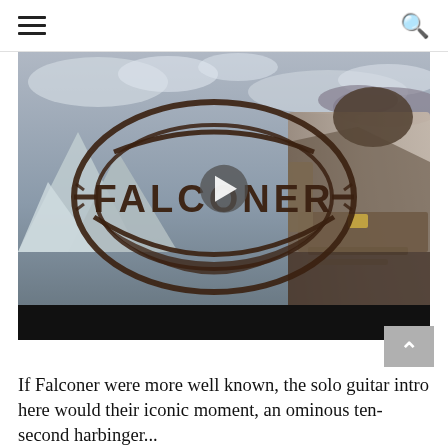[hamburger menu] [search icon]
[Figure (screenshot): Falconer band logo video thumbnail showing fantasy warrior artwork with mountains and clouds background, large FALCONER logo text overlay, and a play button in the center. Black bar at the bottom of the video area.]
If Falconer were more well known, the solo guitar intro here would their iconic moment, an ominous ten-second harbinger...